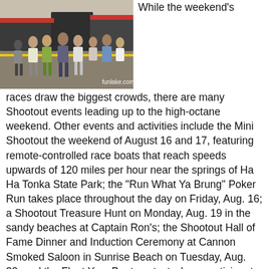[Figure (photo): Crowd of people standing outdoors, appears to be at a racing or outdoor event, with trucks and trailers in the background. Watermark reads 'funlake.com']
While the weekend's races draw the biggest crowds, there are many Shootout events leading up to the high-octane weekend. Other events and activities include the Mini Shootout the weekend of August 16 and 17, featuring remote-controlled race boats that reach speeds upwards of 120 miles per hour near the springs of Ha Ha Tonka State Park; the "Run What Ya Brung" Poker Run takes place throughout the day on Friday, Aug. 16; a Shootout Treasure Hunt on Monday, Aug. 19 in the sandy beaches at Captain Ron's; the Shootout Hall of Fame Dinner and Induction Ceremony at Cannon Smoked Saloon in Sunrise Beach on Tuesday, Aug. 20; and the Float Your Boat contest where participants build the most sea-worthy vessels exclusively out of cardboard and duct tape on Tuesday, Aug. 20.
Race fans will have the opportunity to check out these impressive speed machines up close and in-person during the popular "Shootout on the Strip" meet and greet party along the historic Bagnell Dam Strip in Lake Ozark the evening of Wednesday, Aug. 21. This street party runs from 5 p.m. until 10 p.m. and is a great way to meet the captains and crews of each participating vessel